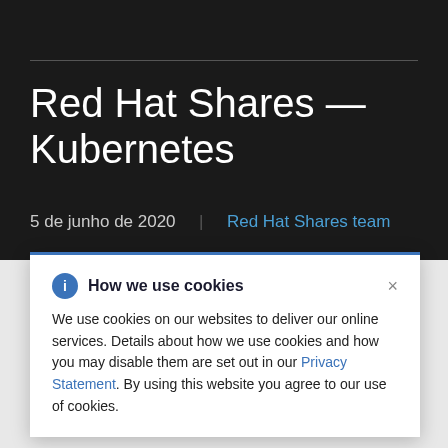Red Hat Shares — Kubernetes
5 de junho de 2020  |  Red Hat Shares team
How we use cookies
We use cookies on our websites to deliver our online services. Details about how we use cookies and how you may disable them are set out in our Privacy Statement. By using this website you agree to our use of cookies.
Red Hat's approach to Kubernetes over the last 6